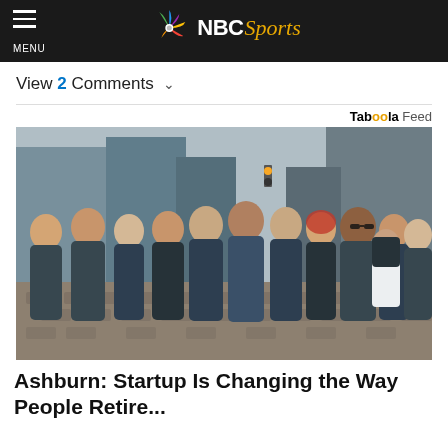NBC Sports
View 2 Comments
[Figure (photo): Group of approximately 13 people wearing matching dark blue 'smartasset' branded t-shirts, standing together on a cobblestone street in a city setting (New York City), with buildings and a traffic light visible in the background.]
Ashburn: Startup Is Changing the Way People Retire...